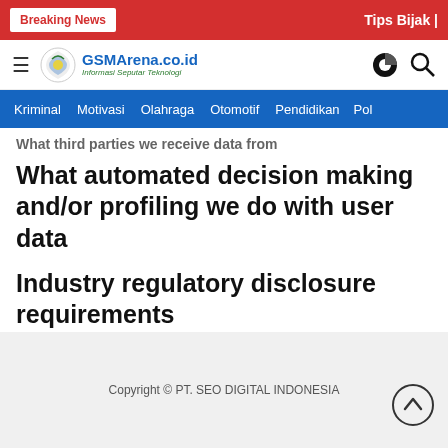Breaking News | Tips Bijak |
GSMArena.co.id — Informasi Seputar Teknologi
Kriminal  Motivasi  Olahraga  Otomotif  Pendidikan  Pol
What automated decision making and/or profiling we do with user data
Industry regulatory disclosure requirements
Copyright © PT. SEO DIGITAL INDONESIA